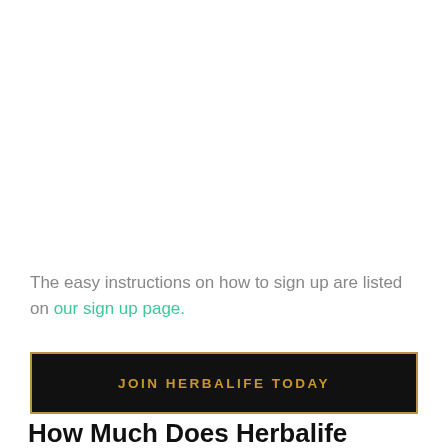The easy instructions on how to sign up are listed on our sign up page.
[Figure (other): Black button with gold border reading JOIN HERBALIFE TODAY]
How Much Does Herbalife